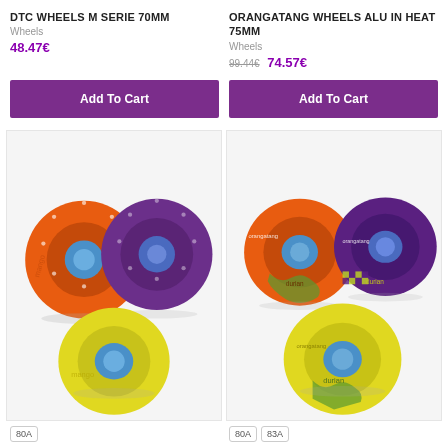DTC WHEELS M SERIE 70MM
Wheels
48.47€
ORANGATANG WHEELS ALU IN HEAT 75MM
Wheels
99.44€ 74.57€
[Figure (other): Add To Cart button, purple background]
[Figure (other): Add To Cart button, purple background]
[Figure (photo): DTC wheels M serie 70mm - orange, purple, and yellow skate wheels]
[Figure (photo): Orangatang Wheels Alu In Heat 75mm - orange, purple, and yellow skate wheels]
80A
80A
83A